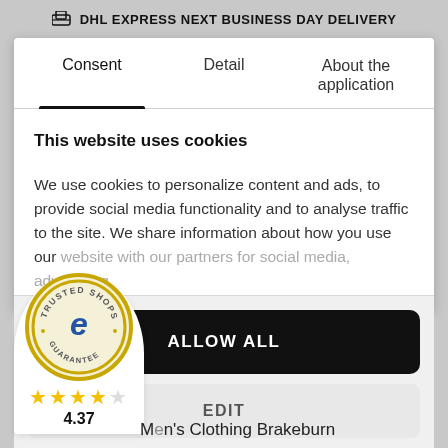DHL EXPRESS NEXT BUSINESS DAY DELIVERY
Consent
Detail
About the application
This website uses cookies
We use cookies to personalize content and ads, to provide social media functionality and to analyse traffic to the site. We share information about how you use our website with our partners for social media, advertising
ALLOW ALL
EDIT
[Figure (logo): Trusted Shops guarantee badge with e logo, star rating and score]
4.37
Men's Clothing Brakeburn